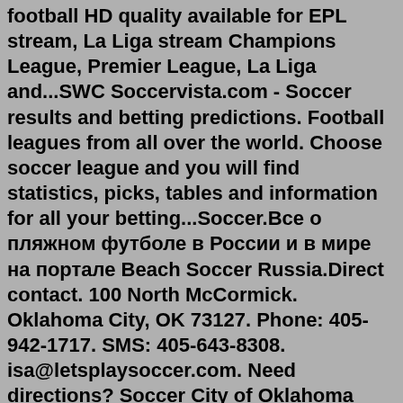football HD quality available for EPL stream, La Liga stream Champions League, Premier League, La Liga and...SWC Soccervista.com - Soccer results and betting predictions. Football leagues from all over the world. Choose soccer league and you will find statistics, picks, tables and information for all your betting...Soccer.Все о пляжном футболе в России и в мире на портале Beach Soccer Russia.Direct contact. 100 North McCormick. Oklahoma City, OK 73127. Phone: 405-942-1717. SMS: 405-643-8308. isa@letsplaysoccer.com. Need directions? Soccer City of Oklahoma City. 4520 Old Farm Road. Oklahoma City, OK 73162. Phone: (405) 748-3888. www.soccerokcity.com. Three indoor soccer fields and one smaller practice field: Field One: 175 ft. x 85 ft. Field Two: 150 ft. x 85 ft. Field Three: 190 ft. x 85 ft. 71,000 square feet of property with a full concession stand Free shipping on millions of items. Get the best of Shopping and Entertainment with Prime. Enjoy low prices and great deals on the largest selection of everyday essentials and other products,